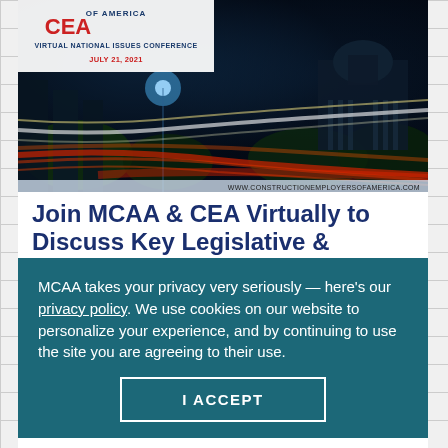[Figure (photo): Hero image of Washington DC at night with light trails on a road, US Capitol building visible in background. CEA (Construction Employers of America) banner overlay in top-left with text: VIRTUAL NATIONAL ISSUES CONFERENCE, JULY 21, 2021. URL bar at bottom: WWW.CONSTRUCTIONEMPLOYERSOFAMERICA.COM]
Join MCAA & CEA Virtually to Discuss Key Legislative & Regulatory Issues  »
The Construction Employers of America
MCAA takes your privacy very seriously — here's our privacy policy. We use cookies on our website to personalize your experience, and by continuing to use the site you are agreeing to their use.
I ACCEPT